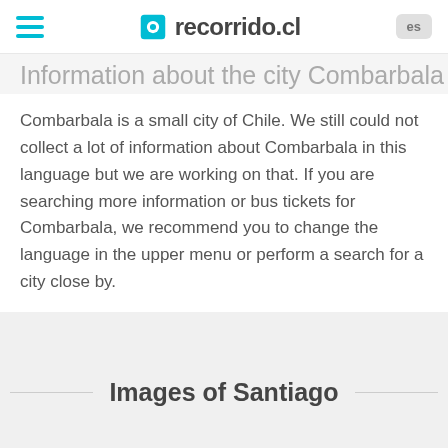recorrido.cl
Information about the city Combarbala
Combarbala is a small city of Chile. We still could not collect a lot of information about Combarbala in this language but we are working on that. If you are searching more information or bus tickets for Combarbala, we recommend you to change the language in the upper menu or perform a search for a city close by.
Images of Santiago